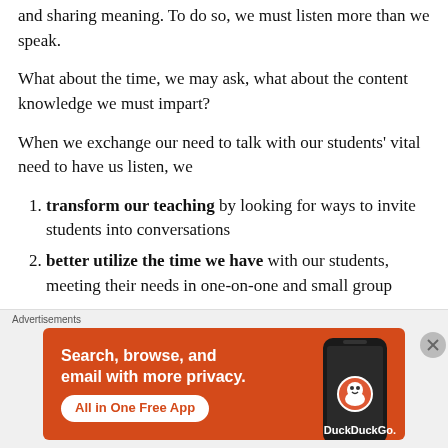and sharing meaning. To do so, we must listen more than we speak.
What about the time, we may ask, what about the content knowledge we must impart?
When we exchange our need to talk with our students' vital need to have us listen, we
transform our teaching by looking for ways to invite students into conversations
better utilize the time we have with our students, meeting their needs in one-on-one and small group
[Figure (other): DuckDuckGo advertisement banner: 'Search, browse, and email with more privacy. All in One Free App' with phone graphic and DuckDuckGo logo]